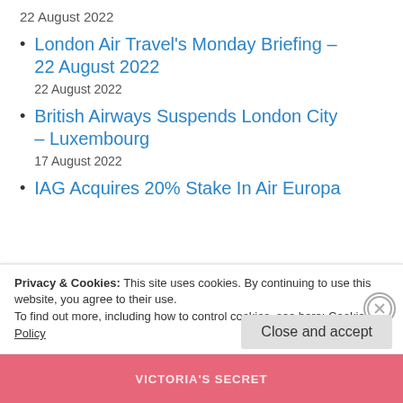22 August 2022
London Air Travel's Monday Briefing – 22 August 2022
22 August 2022
British Airways Suspends London City – Luxembourg
17 August 2022
IAG Acquires 20% Stake In Air Europa
Privacy & Cookies: This site uses cookies. By continuing to use this website, you agree to their use.
To find out more, including how to control cookies, see here: Cookie Policy
Close and accept